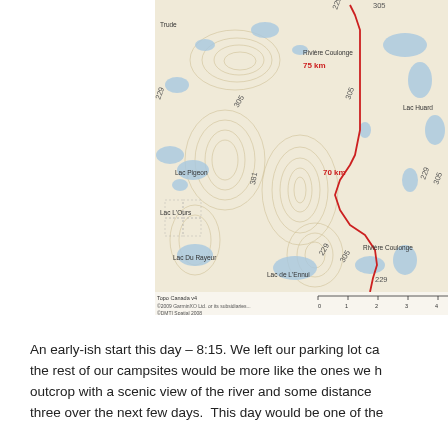[Figure (map): Topographic map (Topo Canada v4) showing a canoe route with red line along Rivière Coulonge. Distance markers '75 km' and '70 km' are shown in red. Lakes and terrain contours visible. Labels include Trude, Rivière Coulonge, Lac Huard, Lac Pigeon, Lac L'Ours, Lac Du Rayeur, Lac de L'Ennui. Elevation contour numbers 229, 305, 381 visible. Scale bar shown at bottom. Copyright: ©2009 GarminXO Ltd. or its subsidiaries, ©DMTI Spatial 2008.]
An early-ish start this day – 8:15. We left our parking lot ca the rest of our campsites would be more like the ones we h outcrop with a scenic view of the river and some distance three over the next few days.  This day would be one of the